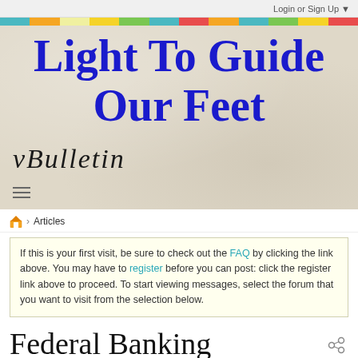Login or Sign Up ▼
[Figure (other): Colorful stripe banner with segments in teal, orange, yellow, green, red colors]
Light To Guide Our Feet
[Figure (logo): vBulletin cursive script logo on textured banner background]
Articles
If this is your first visit, be sure to check out the FAQ by clicking the link above. You may have to register before you can post: click the register link above to proceed. To start viewing messages, select the forum that you want to visit from the selection below.
Federal Banking